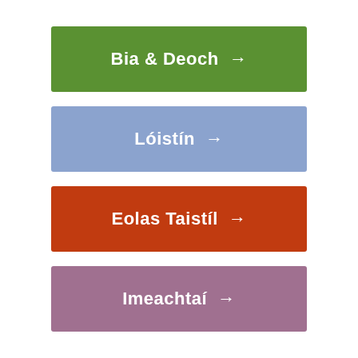Bia & Deoch →
Lóistín →
Eolas Taistíl →
Imeachtaí →